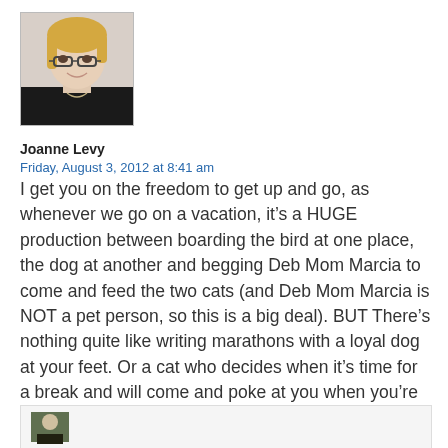[Figure (photo): Profile photo of Joanne Levy, a woman with blonde hair and glasses, wearing a black top, smiling at the camera.]
Joanne Levy
Friday, August 3, 2012 at 8:41 am
I get you on the freedom to get up and go, as whenever we go on a vacation, it’s a HUGE production between boarding the bird at one place, the dog at another and begging Deb Mom Marcia to come and feed the two cats (and Deb Mom Marcia is NOT a pet person, so this is a big deal). BUT There’s nothing quite like writing marathons with a loyal dog at your feet. Or a cat who decides when it’s time for a break and will come and poke at you when you’re in the middle of a pivotal scene.
[Figure (photo): Partial view of another comment below, showing a small avatar thumbnail.]